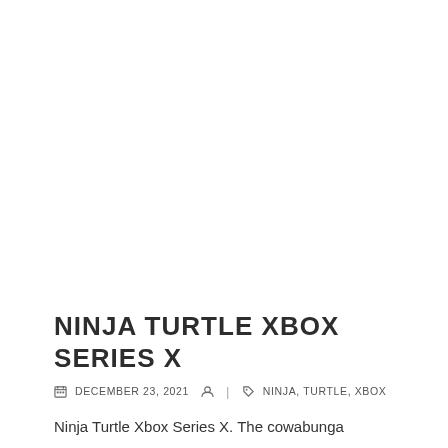NINJA TURTLE XBOX SERIES X
DECEMBER 23, 2021   |   NINJA, TURTLE, XBOX
Ninja Turtle Xbox Series X. The cowabunga